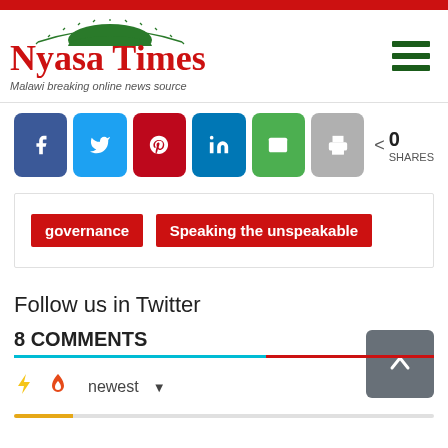Nyasa Times — Malawi breaking online news source
[Figure (infographic): Social sharing buttons: Facebook, Twitter, Pinterest, LinkedIn, Email, Print, and share count showing 0 SHARES]
governance | Speaking the unspeakable
Follow us in Twitter
8 COMMENTS
newest